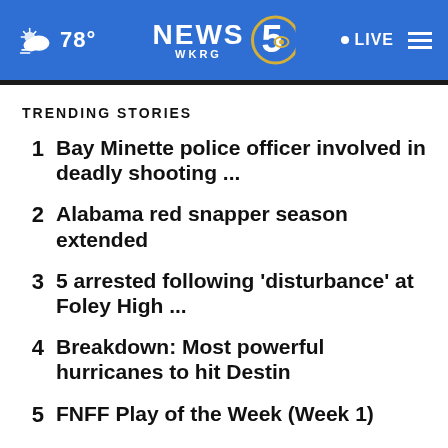NEWS 5 WKRG | 78° | LIVE
TRENDING STORIES
1 Bay Minette police officer involved in deadly shooting ...
2 Alabama red snapper season extended
3 5 arrested following 'disturbance' at Foley High ...
4 Breakdown: Most powerful hurricanes to hit Destin
5 FNFF Play of the Week (Week 1)